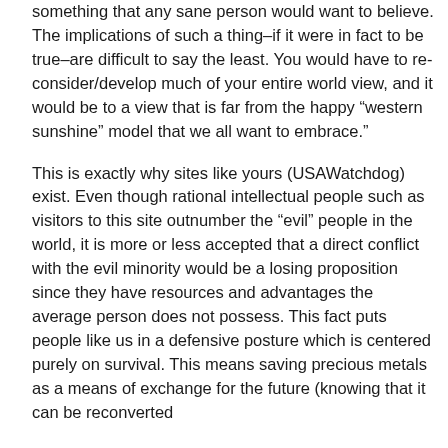something that any sane person would want to believe. The implications of such a thing–if it were in fact to be true–are difficult to say the least. You would have to re-consider/develop much of your entire world view, and it would be to a view that is far from the happy “western sunshine” model that we all want to embrace.”
This is exactly why sites like yours (USAWatchdog) exist. Even though rational intellectual people such as visitors to this site outnumber the “evil” people in the world, it is more or less accepted that a direct conflict with the evil minority would be a losing proposition since they have resources and advantages the average person does not possess. This fact puts people like us in a defensive posture which is centered purely on survival. This means saving precious metals as a means of exchange for the future (knowing that it can be reconverted